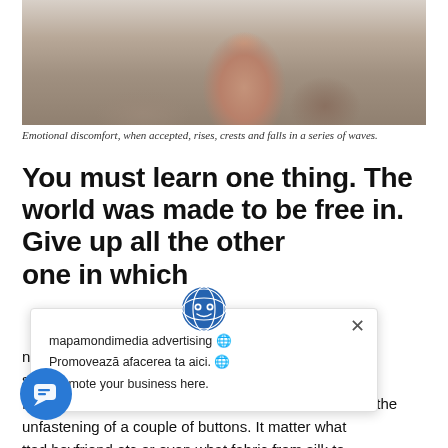[Figure (photo): Woman with red/auburn hair smiling, sitting at a desk with a laptop, in a cafe or office setting.]
Emotional discomfort, when accepted, rises, crests and falls in a series of waves.
You must learn one thing. The world was made to be free in. Give up all the other worlds … one in which
nite shirt is the so the most multi-functional item, taking you from work to play with just the unfastening of a couple of buttons. It matter what tted boyfriend etc or even what fabric from silk to heavy cotton go with whatever suits your personal style
mapamondimedia advertising 🌐
Promovează afacerea ta aici. 🌐
Promote your business here.